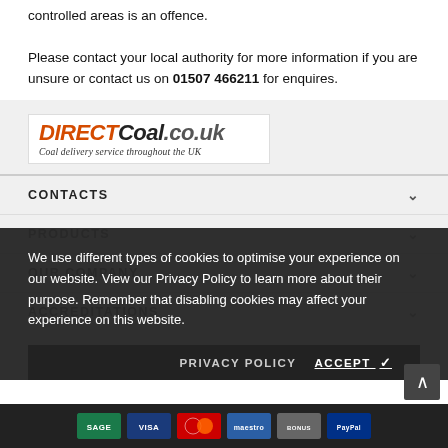controlled areas is an offence.

Please contact your local authority for more information if you are unsure or contact us on 01507 466211 for enquires.
[Figure (logo): DIRECTCoal.co.uk logo with tagline 'Coal delivery service throughout the UK']
CONTACTS
PRODUCTS
OUR COMPANY
ACCREDITATIONS
We use different types of cookies to optimise your experience on our website. View our Privacy Policy to learn more about their purpose. Remember that disabling cookies may affect your experience on this website.
PRIVACY POLICY    ACCEPT ✓